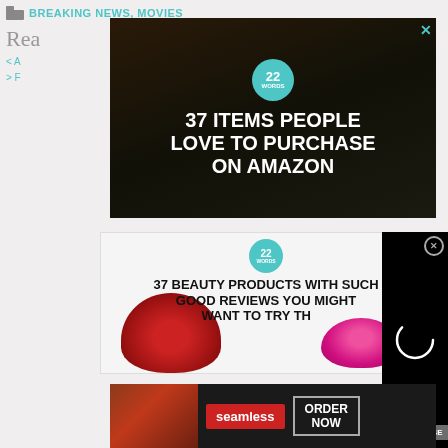BREAKING NEWS, MOVIES
Rea
[Figure (screenshot): Advertisement banner: '37 ITEMS PEOPLE LOVE TO PURCHASE ON AMAZON' with 22 Words logo, dark background with kitchen items]
[Figure (screenshot): Advertisement: '37 BEAUTY PRODUCTS WITH SUCH GOOD REVIEWS YOU MIGHT WANT TO TRY TH...' with 22 Words logo, strawberry and pink lip balm]
[Figure (screenshot): Video loading overlay with spinning circle on black background, with CLOSE button]
[Figure (screenshot): Seamless advertisement banner: pizza image, seamless logo, ORDER NOW button]